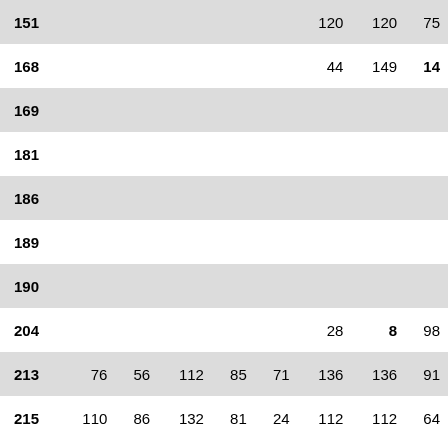| ID | Col1 | Col2 | Col3 | Col4 | Col5 | Col6 | Col7 | Col8 |
| --- | --- | --- | --- | --- | --- | --- | --- | --- |
| 151 |  |  |  |  |  | 120 | 120 | 75 |
| 168 |  |  |  |  |  | 44 | 149 | 14 |
| 169 |  |  |  |  |  |  |  |  |
| 181 |  |  |  |  |  |  |  |  |
| 186 |  |  |  |  |  |  |  |  |
| 189 |  |  |  |  |  |  |  |  |
| 190 |  |  |  |  |  |  |  |  |
| 204 |  |  |  |  |  | 28 | 8 | 98 |
| 213 | 76 | 56 | 112 | 85 | 71 | 136 | 136 | 91 |
| 215 | 110 | 86 | 132 | 81 | 24 | 112 | 112 | 64 |